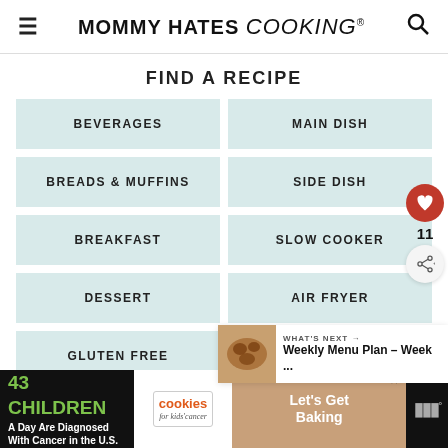MOMMY HATES cooking®
FIND A RECIPE
BEVERAGES
MAIN DISH
BREADS & MUFFINS
SIDE DISH
BREAKFAST
SLOW COOKER
DESSERT
AIR FRYER
GLUTEN FREE
SNACKS
WHAT'S NEXT → Weekly Menu Plan – Week ...
43 CHILDREN A Day Are Diagnosed With Cancer in the U.S. | cookies for kids' cancer | Let's Get Baking